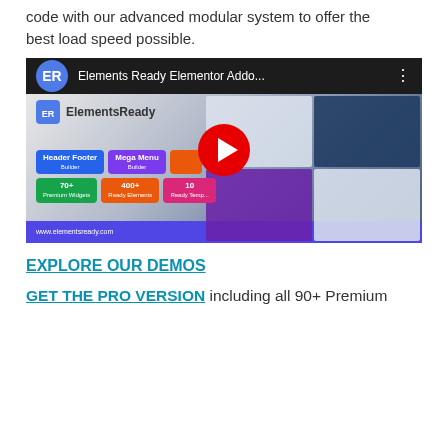code with our advanced modular system to offer the best load speed possible.
[Figure (screenshot): YouTube video thumbnail for 'Elements Ready Elementor Addo...' showing the ElementsReady plugin promotional video with play button, feature badges (Header Footer Builder, Mega Menu Builder, 70+ Premium Widgets, 400+ Ready Elements, 10+ Ready Templates), and website URL www.elementsready.com]
EXPLORE OUR DEMOS
GET THE PRO VERSION including all 90+ Premium